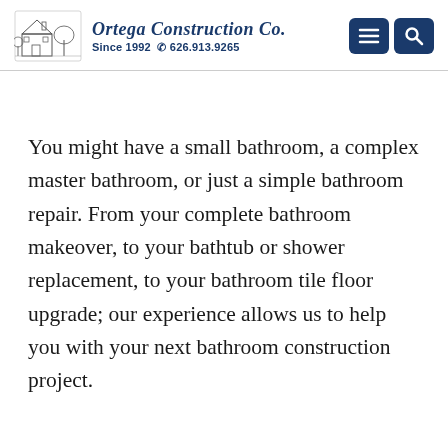[Figure (logo): Ortega Construction Co. logo with house illustration, company name in italic serif, Since 1992 and phone number 626.913.9265]
[Figure (other): Navigation buttons: hamburger menu and search icon, dark navy blue rounded squares]
You might have a small bathroom, a complex master bathroom, or just a simple bathroom repair. From your complete bathroom makeover, to your bathtub or shower replacement, to your bathroom tile floor upgrade; our experience allows us to help you with your next bathroom construction project.